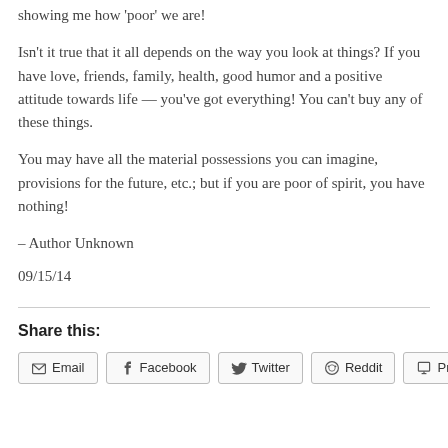showing me how 'poor' we are!
Isn't it true that it all depends on the way you look at things? If you have love, friends, family, health, good humor and a positive attitude towards life — you've got everything! You can't buy any of these things.
You may have all the material possessions you can imagine, provisions for the future, etc.; but if you are poor of spirit, you have nothing!
– Author Unknown
09/15/14
Share this:
Email
Facebook
Twitter
Reddit
Print